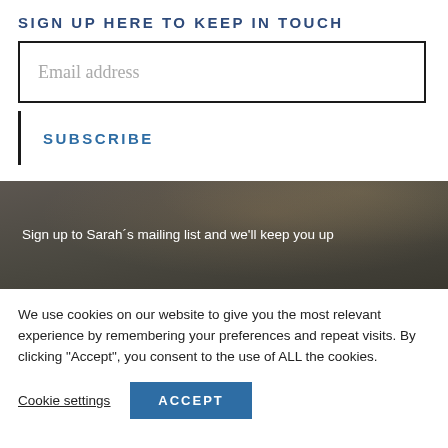SIGN UP HERE TO KEEP IN TOUCH
Email address
SUBSCRIBE
[Figure (photo): Dark background image strip showing a dimly lit scene, with text overlay reading: Sign up to Sarah´s mailing list and we'll keep you up]
Sign up to Sarah´s mailing list and we'll keep you up
We use cookies on our website to give you the most relevant experience by remembering your preferences and repeat visits. By clicking "Accept", you consent to the use of ALL the cookies.
Cookie settings
ACCEPT